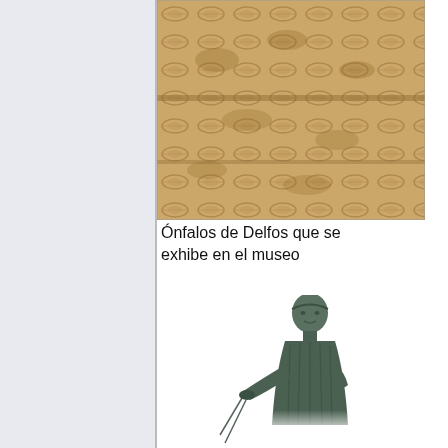[Figure (photo): Close-up photo of the Omphalos of Delphi, a carved stone artifact with leaf/net pattern relief decorations, shown in golden/beige color.]
Ónfalos de Delfos que se exhibe en el museo
[Figure (photo): Bronze statue of the Charioteer of Delphi, showing upper torso and head of a robed figure holding reins, with detailed drapery folds.]